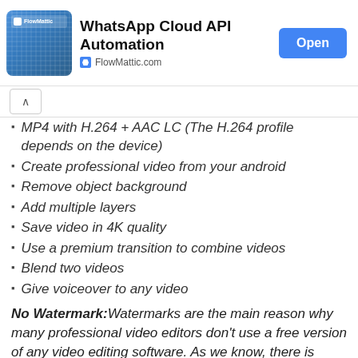[Figure (screenshot): FlowMattic app advertisement banner with logo, title 'WhatsApp Cloud API Automation', domain 'FlowMattic.com', and an 'Open' button]
MP4 with H.264 + AAC LC (The H.264 profile depends on the device)
Create professional video from your android
Remove object background
Add multiple layers
Save video in 4K quality
Use a premium transition to combine videos
Blend two videos
Give voiceover to any video
No Watermark: Watermarks are the main reason why many professional video editors don't use a free version of any video editing software. As we know, there is watermark too in the free version of Kinemaster. If you want to remove the watermark, then you need to buy their subscription. But in this Kinemaster No watermark mod apk, you will not get any problem like this. We had completely removed the